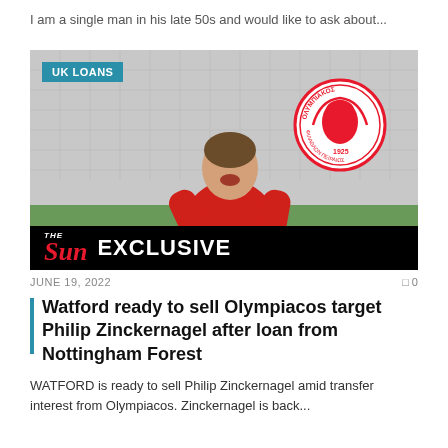I am a single man in his late 50s and would like to ask about...
[Figure (photo): Football player in red Nottingham Forest BOXT jersey celebrating in front of a goal net, with Olympiacos FC club badge overlaid top right, and The Sun EXCLUSIVE branding bar at the bottom. 'UK LOANS' badge top left.]
JUNE 19, 2022   0
Watford ready to sell Olympiacos target Philip Zinckernagel after loan from Nottingham Forest
WATFORD is ready to sell Philip Zinckernagel amid transfer interest from Olympiacos. Zinckernagel is back...